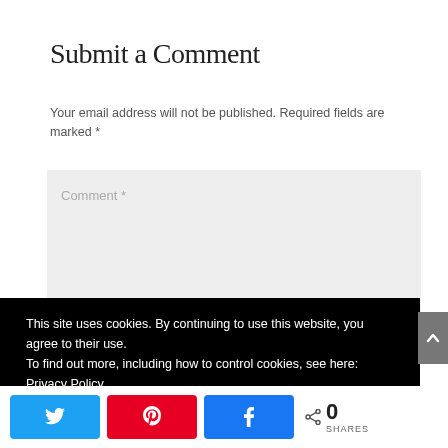Submit a Comment
Your email address will not be published. Required fields are marked *
[Figure (screenshot): Comment text area input field with placeholder text 'Comment *' on a light gray background]
This site uses cookies. By continuing to use this website, you agree to their use.
To find out more, including how to control cookies, see here: Privacy Policy
[Figure (infographic): Social share bar with Twitter, Pinterest, Facebook buttons and a share count showing 0 SHARES]